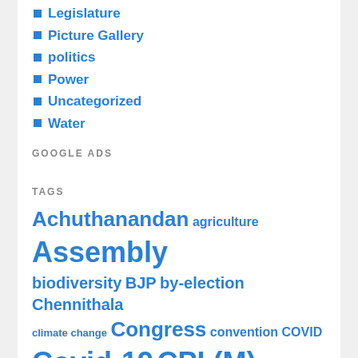Legislature
Picture Gallery
politics
Power
Uncategorized
Water
GOOGLE ADS
TAGS
Achuthanandan agriculture Assembly biodiversity BJP by-election Chennithala climate change Congress convention COVID Covid-19 CPI (M) crime dam dam break analysis dam failure dam safety election elections endosulfan forests